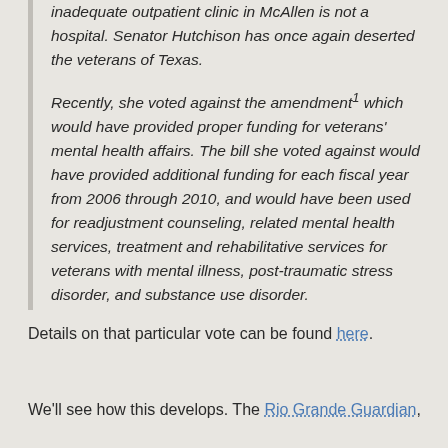inadequate outpatient clinic in McAllen is not a hospital. Senator Hutchison has once again deserted the veterans of Texas.

Recently, she voted against the amendment1 which would have provided proper funding for veterans' mental health affairs. The bill she voted against would have provided additional funding for each fiscal year from 2006 through 2010, and would have been used for readjustment counseling, related mental health services, treatment and rehabilitative services for veterans with mental illness, post-traumatic stress disorder, and substance use disorder.
Details on that particular vote can be found here.
We'll see how this develops. The Rio Grande Guardian,